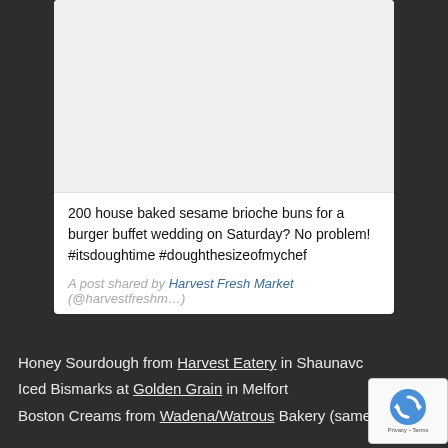[Figure (photo): Light grey placeholder image area at the top of a social media card]
200 house baked sesame brioche buns for a burger buffet wedding on Saturday? No problem! #itsdoughtime #doughthesizeofmychef
A post shared by Harvest Fresh Market (@harvestfreshm…)
Honey Sourdough from Harvest Eatery in Shaunavon
Iced Bismarks at Golden Grain in Melfort
Boston Creams from Wadena/Watrous Bakery (same
[Figure (logo): reCAPTCHA badge with spinning arrow logo and Privacy - Terms text]